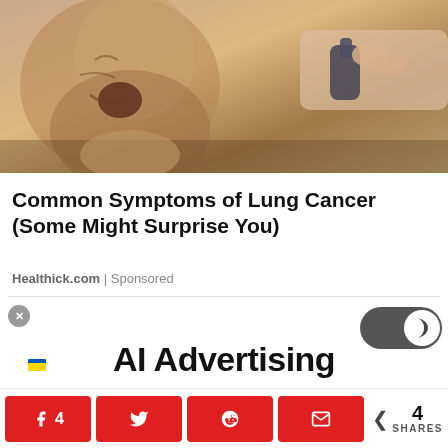[Figure (photo): Man grimacing in pain while a hand holds a device to his neck/throat area. Medical/health themed image.]
Common Symptoms of Lung Cancer (Some Might Surprise You)
Healthick.com | Sponsored
[Figure (infographic): Advertisement area with close button, dark mode toggle icon, AI Advertising text, and a small flag graphic]
4  SHARES (share buttons: Facebook 4, Twitter, Reddit, Email)